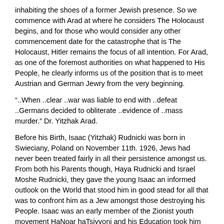inhabiting the shoes of a former Jewish presence. So we commence with Arad at where he considers The Holocaust begins, and for those who would consider any other commencement date for the catastrophe that is The Holocaust, Hitler remains the focus of all intention. For Arad, as one of the foremost authorities on what happened to His People, he clearly informs us of the position that is to meet Austrian and German Jewry from the very beginning.
“..When ..clear ..war was liable to end with ..defeat ..Germans decided to obliterate ..evidence of ..mass murder.” Dr. Yitzhak Arad.
Before his Birth, Isaac (Yitzhak) Rudnicki was born in Swieciany, Poland on November 11th. 1926, Jews had never been treated fairly in all their persistence amongst us. From both his Parents though, Haya Rudnicki and Israel Moshe Rudnicki, they gave the young Isaac an informed outlook on the World that stood him in good stead for all that was to confront him as a Jew amongst those destroying his People. Isaac was an early member of the Zionist youth movement HaNoar haTsiyyoni and his Education took him into the local Hebrew schools. His grounding in the need for a Jewish State was being nurtured.
“..Jews were compelled to establish relations with an alien ..hostile government that regarded them as subhuman ..fit only for exploitation and extermination. ..human values in which they believed and on which they had built their lives tottered and collapsed. In this cruel reality ..Vilna Jewry struggled to survive and seek rescue. ..daily struggle was for life itself